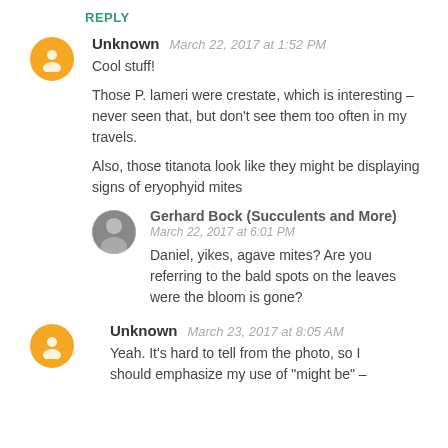REPLY
Unknown  March 22, 2017 at 1:52 PM
Cool stuff!

Those P. lameri were crestate, which is interesting – never seen that, but don't see them too often in my travels.

Also, those titanota look like they might be displaying signs of eryophyid mites
Gerhard Bock (Succulents and More)  March 22, 2017 at 6:01 PM
Daniel, yikes, agave mites? Are you referring to the bald spots on the leaves were the bloom is gone?
Unknown  March 23, 2017 at 8:05 AM
Yeah. It's hard to tell from the photo, so I should emphasize my use of "might be" –